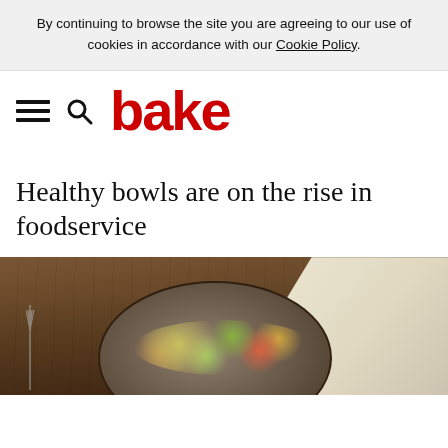By continuing to browse the site you are agreeing to our use of cookies in accordance with our Cookie Policy.
[Figure (logo): Bake magazine logo with hamburger menu and search icon navigation bar. Logo text 'bake' in bold red.]
Healthy bowls are on the rise in foodservice
[Figure (photo): Photo of a healthy grain bowl with vegetables and grains on a wooden table with a fork, partially cut off at bottom of page.]